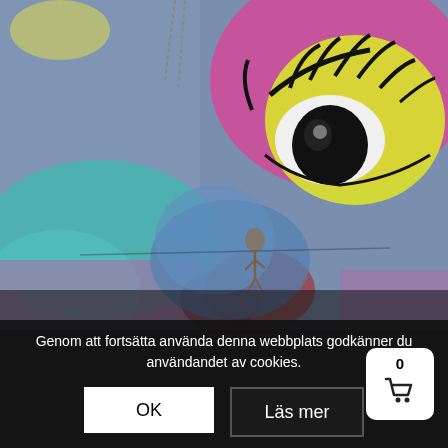[Figure (illustration): Abstract artwork showing a large surreal eye with yellow sclera and heavy black lashes, set against a pink circular shape, on a textured background of blue, teal, pink, yellow and red brushstrokes. A small figure appears near the center-bottom.]
Genom att fortsätta använda denna webbplats godkänner du användandet av cookies.
OK
Läs mer
0